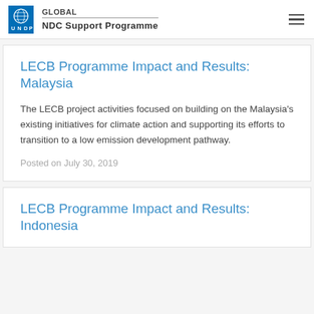GLOBAL NDC Support Programme
LECB Programme Impact and Results: Malaysia
The LECB project activities focused on building on the Malaysia's existing initiatives for climate action and supporting its efforts to transition to a low emission development pathway.
Posted on July 30, 2019
LECB Programme Impact and Results: Indonesia